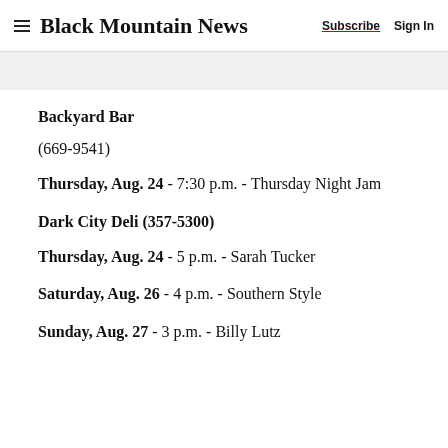Black Mountain News | Subscribe | Sign In
Backyard Bar
(669-9541)
Thursday, Aug. 24 - 7:30 p.m. - Thursday Night Jam
Dark City Deli (357-5300)
Thursday, Aug. 24 - 5 p.m. - Sarah Tucker
Saturday, Aug. 26 - 4 p.m. - Southern Style
Sunday, Aug. 27 - 3 p.m. - Billy Lutz